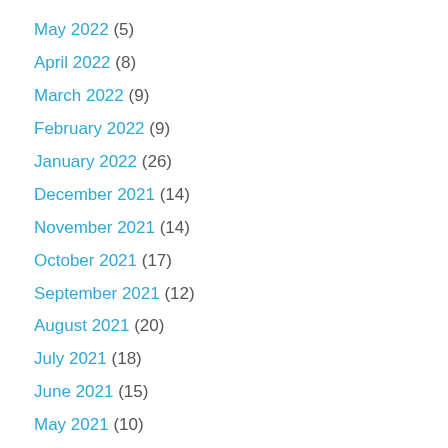May 2022 (5)
April 2022 (8)
March 2022 (9)
February 2022 (9)
January 2022 (26)
December 2021 (14)
November 2021 (14)
October 2021 (17)
September 2021 (12)
August 2021 (20)
July 2021 (18)
June 2021 (15)
May 2021 (10)
April 2021 (13)